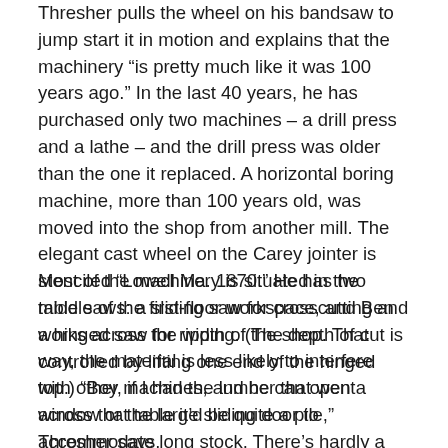Thresher pulls the wheel on his bandsaw to jump start it in motion and explains that the machinery “is pretty much like it was 100 years ago.” In the last 40 years, he has purchased only two machines – a drill press and a lathe – and the drill press was older than the one it replaced. A horizontal boring machine, more than 100 years old, was moved into the shop from another mill. The elegant cast wheel on the Carey jointer is stenciled “Lowell Ma. 1870.” He has two table saws: a sliding saw for crosscutting and a hinged saw for ripping. (The depth of cut is controlled by lifting one end of the hinged top.) “Boy, if I had the lumber that went across that table it’d be quite a pile,” Thresher says.
Most of the machinery is situated in the middle of the first-floor workspace, and Ben works across the width of the shop. That way, the material is less likely to interfere with other machines, and he can open a window or the large sliding door to accommodate long stock. There’s hardly a tool guard in the building. “OSHA would shut me right down,” Thresher says, “only I don’t hire anybody.” Over the years, the machines have caught him only once,